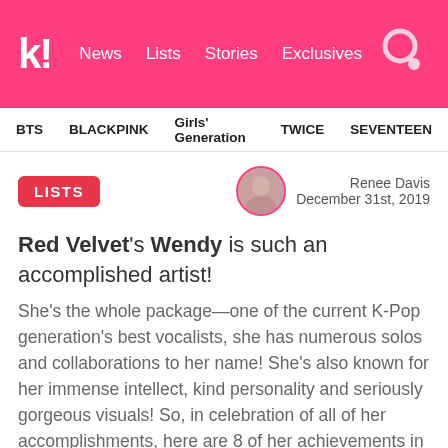koreaboo | News  Lists  Stories  Exclusives
BTS  BLACKPINK  Girls' Generation  TWICE  SEVENTEEN
LISTS
Renee Davis
December 31st, 2019
Red Velvet's Wendy is such an accomplished artist!
She's the whole package—one of the current K-Pop generation's best vocalists, she has numerous solos and collaborations to her name! She's also known for her immense intellect, kind personality and seriously gorgeous visuals! So, in celebration of all of her accomplishments, here are 8 of her achievements in the year